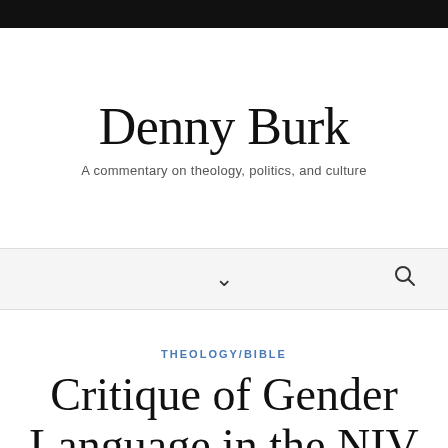Denny Burk
A commentary on theology, politics, and culture
THEOLOGY/BIBLE
Critique of Gender Language in the NIV